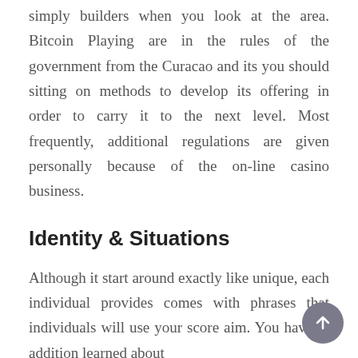simply builders when you look at the area. Bitcoin Playing are in the rules of the government from the Curacao and its you should sitting on methods to develop its offering in order to carry it to the next level. Most frequently, additional regulations are given personally because of the on-line casino business.
Identity & Situations
Although it start around exactly like unique, each individual provides comes with phrases that individuals will use your score aim. You have in addition learned about